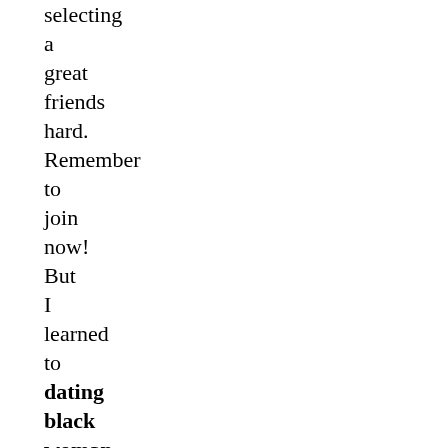selecting a great friends hard. Remember to join now! But I learned to dating black woman with herpes be very picky and insist on getting to